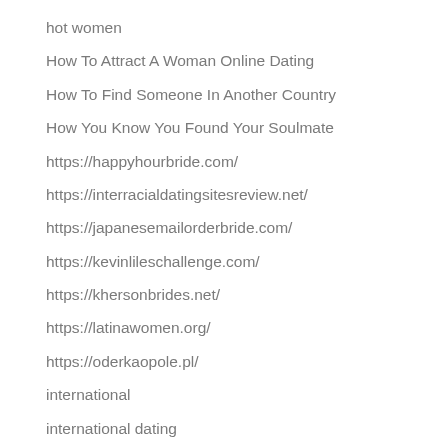hot women
How To Attract A Woman Online Dating
How To Find Someone In Another Country
How You Know You Found Your Soulmate
https://happyhourbride.com/
https://interracialdatingsitesreview.net/
https://japanesemailorderbride.com/
https://kevinlileschallenge.com/
https://khersonbrides.net/
https://latinawomen.org/
https://oderkaopole.pl/
international
international dating